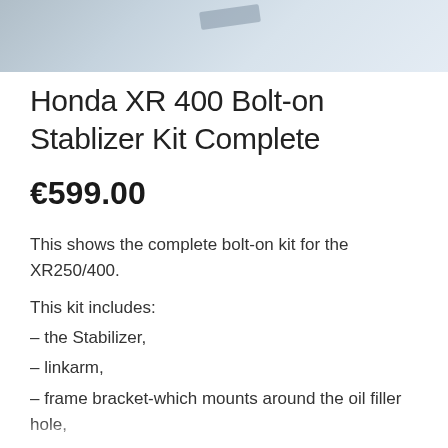[Figure (photo): Partial product photo showing a motorcycle stabilizer component against a light blue/grey background, cropped at top of page]
Honda XR 400 Bolt-on Stablizer Kit Complete
€599.00
This shows the complete bolt-on kit for the XR250/400.
This kit includes:
– the Stabilizer,
– linkarm,
– frame bracket-which mounts around the oil filler hole,